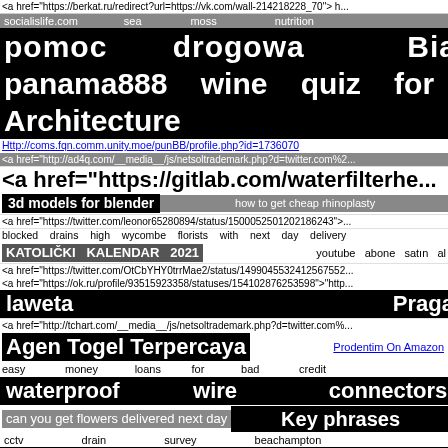<a href="https://berkat.ru/redirect?url=https://vk.com/wall-214218228_70"> h...
socialislife.com   sea   moss   nutrition
pomoc   drogowa   Białołęka
panama888   wine   quiz   for   me
Architecture                         Project
Http://coms.fqn.comm.unity.moe/punBB/profile.php?id=1736070
<a href="http://ad4q.com/__media__/js/netsoltrademark.php?d=twitter.com%2...
<a href="https://gitlab.com/waterfilterhe...
3d models for blender   how to get cheap rhinoplasty
<a href="https://twitter.com/leonor65280894/status/1500052501202186243">...
blocked   drains   high   wycombe   florists   with   next   day   delivery
KATOLIČKI   KALENDAR   2021   youtube   abone   satın   al
<a href="https://twitter.com/OtCbYHY0trrMae2/status/1499045532412567552...
<a href="https://ok.ru/profile/93515923358/statuses/154102876253598">"http...
laweta                                        Praga
<a href="http://tchart.com/__media__/js/netsoltrademark.php?d=twitter.com%...
Agen Togel Terpercaya   Prodentim On Amazon
easy   money   loans   for   bad   credit
waterproof   wire   connectors
can you get flowers delivered next day   Key phrases
cctv   drain   survey   beachampton
<a href="https://vk.com/wall-214308716_74">"https:...
pharmacy   wholesale   send   flowers   tomorrow